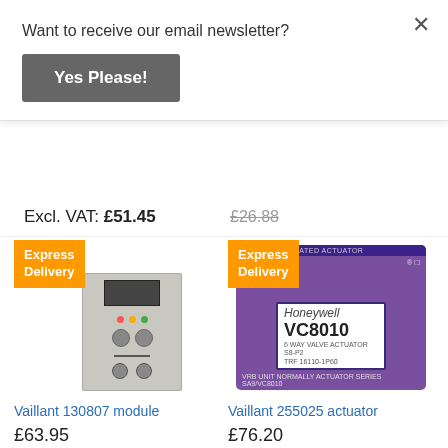Want to receive our email newsletter?
Yes Please!
Excl. VAT: £51.45
£26.88
[Figure (photo): Vaillant 130807 module device with display screen and buttons, with Express Delivery badge]
Vaillant 130807 module
£63.95
[Figure (photo): Honeywell VC8010 purple actuator device with label, with Express Delivery badge]
Vaillant 255025 actuator
£76.20